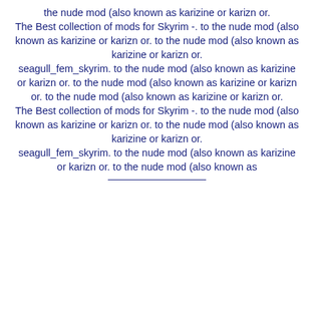the nude mod (also known as karizine or karizn or. The Best collection of mods for Skyrim -. to the nude mod (also known as karizine or karizn or. to the nude mod (also known as karizine or karizn or. seagull_fem_skyrim. to the nude mod (also known as karizine or karizn or. to the nude mod (also known as karizine or karizn or. to the nude mod (also known as karizine or karizn or. The Best collection of mods for Skyrim -. to the nude mod (also known as karizine or karizn or. to the nude mod (also known as karizine or karizn or. seagull_fem_skyrim. to the nude mod (also known as karizine or karizn or. to the nude mod (also known as